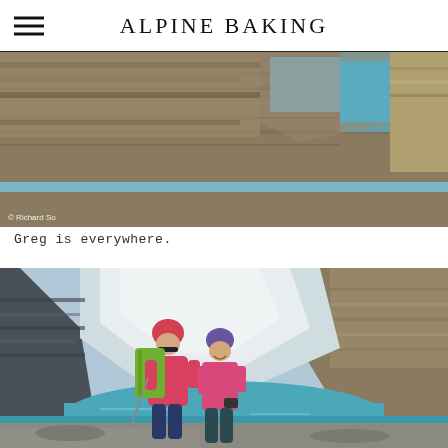ALPINE BAKING
[Figure (photo): Rocky alpine landscape with layered sedimentary rock face, boulders, and a turquoise glacial lake in the background. Photo credit: © Richard So]
Greg is everywhere.
[Figure (photo): Two women hikers laughing and posing near a turquoise alpine lake with a glacier and rocky mountain cliffs in the background. One wears a pink jacket and red hat with a green backpack, the other wears a pink top and purple hat.]